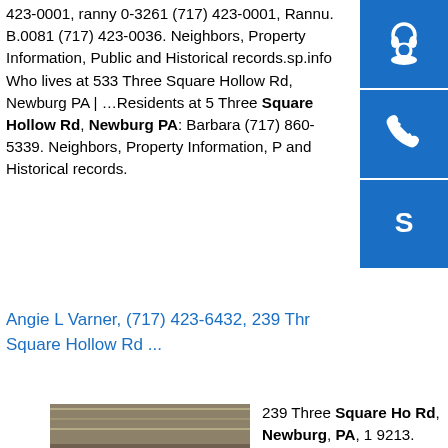423-0001, ranny 0-3261 (717) 423-0001, Rannu. B.0081 (717) 423-0036. Neighbors, Property Information, Public and Historical records.sp.info Who lives at 533 Three Square Hollow Rd, Newburg PA | …Residents at 5 Three Square Hollow Rd, Newburg PA: Barbara (717) 860-5339. Neighbors, Property Information, P and Historical records.
[Figure (illustration): Blue icon with headset/customer support symbol]
[Figure (illustration): Blue icon with telephone handset symbol]
[Figure (illustration): Blue icon with Skype logo symbol]
Angie L Varner, (717) 423-6432, 239 Three Square Hollow Rd ...
[Figure (photo): Photo of large rolled metal/steel coils stacked together]
239 Three Square Hollow Rd, Newburg, PA, 17 9213. See more results for Angie Varner. in Newburg, PA ; in the US (6) See more results for Varner. in Newburg, PA ; in PA . More About Angie L Varner Address History Public Records Driving Records Social Profiles Court Recordssp.info HOLLOW STRUCTURAL SECTIONS. h